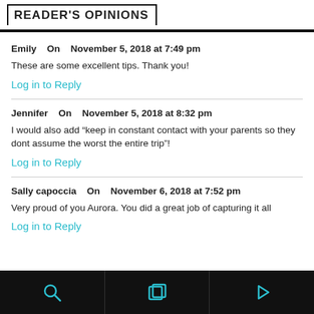READER'S OPINIONS
Emily   On   November 5, 2018 at 7:49 pm
These are some excellent tips. Thank you!
Log in to Reply
Jennifer   On   November 5, 2018 at 8:32 pm
I would also add “keep in constant contact with your parents so they dont assume the worst the entire trip”!
Log in to Reply
Sally capoccia   On   November 6, 2018 at 7:52 pm
Very proud of you Aurora. You did a great job of capturing it all
Log in to Reply